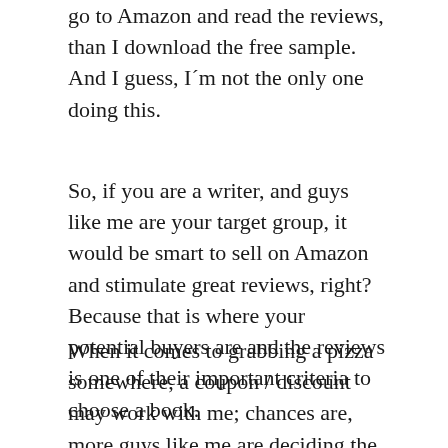go to Amazon and read the reviews, than I download the free sample. And I guess, I´m not the only one doing this.
So, if you are a writer, and guys like me are your target group, it would be smart to sell on Amazon and stimulate great reviews, right? Because that is where your potential buyers are and the reviews is one of their important criteria to choose a book.
When it comes to grabbing a pizza somewhere, a coupon / discount may work with me; chances are, more guys like me are deciding the same way. So, if you´re selling pizza and I am your target customer, make sure I see a coupon. Since I am